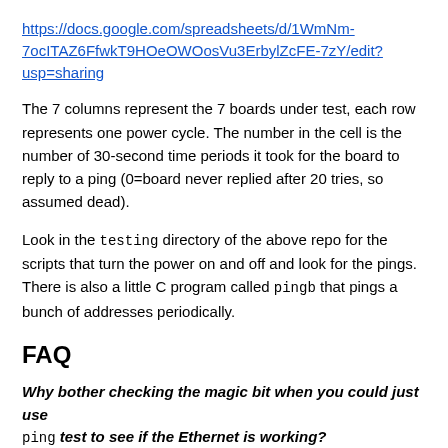https://docs.google.com/spreadsheets/d/1WmNm-7ocITAZ6FfwkT9HOeOWOosVu3ErbylZcFE-7zY/edit?usp=sharing
The 7 columns represent the 7 boards under test, each row represents one power cycle. The number in the cell is the number of 30-second time periods it took for the board to reply to a ping (0=board never replied after 20 tries, so assumed dead).
Look in the testing directory of the above repo for the scripts that turn the power on and off and look for the pings. There is also a little C program called pingb that pings a bunch of addresses periodically.
FAQ
Why bother checking the magic bit when you could just use ping test to see if the Ethernet is working?
The bit tells you directly if the Ethernet is dead. Using a PING test, you might end up power cycling over and over again if, say, the network cable